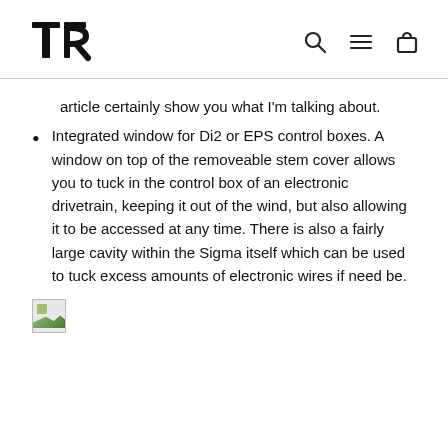TR [logo] | [search icon] [menu icon] [cart icon]
article certainly show you what I'm talking about.
Integrated window for Di2 or EPS control boxes. A window on top of the removeable stem cover allows you to tuck in the control box of an electronic drivetrain, keeping it out of the wind, but also allowing it to be accessed at any time. There is also a fairly large cavity within the Sigma itself which can be used to tuck excess amounts of electronic wires if need be.
[Figure (photo): Broken/placeholder image thumbnail (green landscape graphic)]